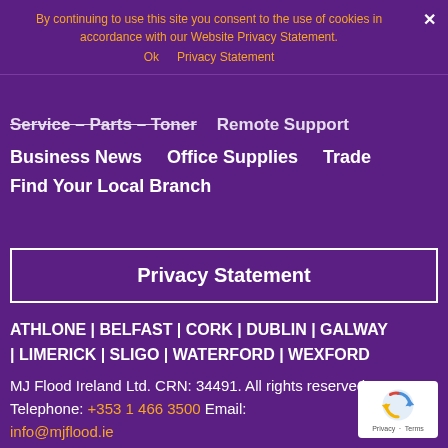By continuing to use this site you consent to the use of cookies in accordance with our Website Privacy Statement.
Ok   Privacy Statement
Service – Parts – Toner   Remote Support
Business News   Office Supplies   Trade
Find Your Local Branch
Privacy Statement
ATHLONE | BELFAST | CORK | DUBLIN | GALWAY | LIMERICK | SLIGO | WATERFORD | WEXFORD
MJ Flood Ireland Ltd. CRN: 34491. All rights reserved. Telephone: +353 1 466 3500 Email: info@mjflood.ie
[Figure (logo): reCAPTCHA badge with Google logo and Privacy - Terms text]